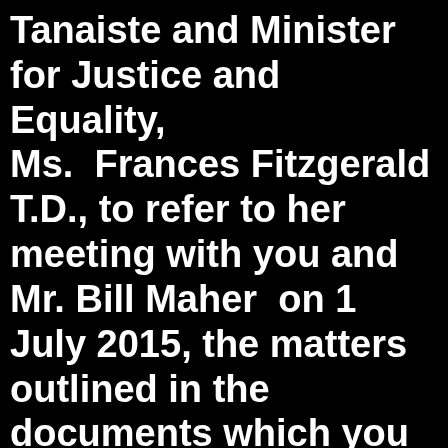Tanaiste and Minister for Justice and Equality, Ms. Frances Fitzgerald T.D., to refer to her meeting with you and Mr. Bill Maher on 1 July 2015, the matters outlined in the documents which you gave to her at the meeting and in your subsequent correspondence